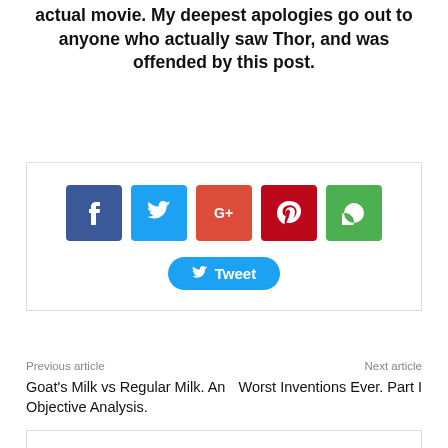actual movie. My deepest apologies go out to anyone who actually saw Thor, and was offended by this post.
[Figure (infographic): Social share buttons: Facebook (blue), Twitter (light blue), Google+ (red-orange), Pinterest (dark red), WhatsApp (green), and a Twitter Tweet button below.]
Previous article
Next article
Goat's Milk vs Regular Milk. An Objective Analysis.
Worst Inventions Ever. Part I
[Figure (other): Comment box area (empty bordered rectangle)]